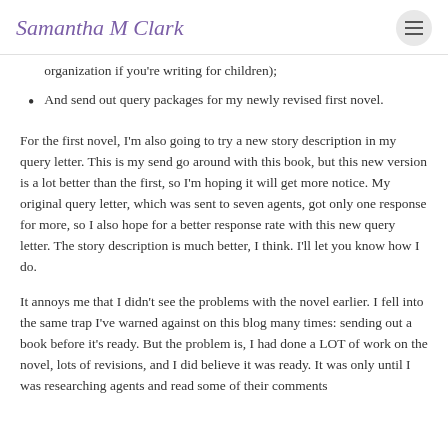Samantha M Clark
organization if you're writing for children);
And send out query packages for my newly revised first novel.
For the first novel, I'm also going to try a new story description in my query letter. This is my send go around with this book, but this new version is a lot better than the first, so I'm hoping it will get more notice. My original query letter, which was sent to seven agents, got only one response for more, so I also hope for a better response rate with this new query letter. The story description is much better, I think. I'll let you know how I do.
It annoys me that I didn't see the problems with the novel earlier. I fell into the same trap I've warned against on this blog many times: sending out a book before it's ready. But the problem is, I had done a LOT of work on the novel, lots of revisions, and I did believe it was ready. It was only until I was researching agents and read some of their comments